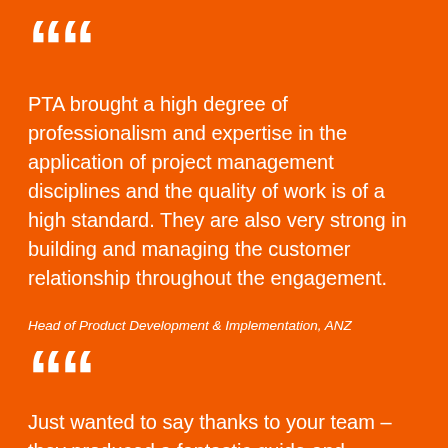““
PTA brought a high degree of professionalism and expertise in the application of project management disciplines and the quality of work is of a high standard. They are also very strong in building and managing the customer relationship throughout the engagement.
Head of Product Development & Implementation, ANZ
““
Just wanted to say thanks to your team – they produced a fantastic guide and